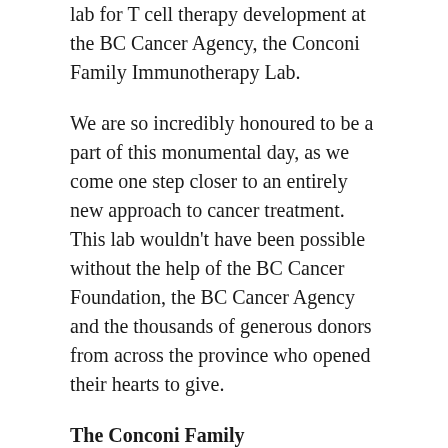lab for T cell therapy development at the BC Cancer Agency, the Conconi Family Immunotherapy Lab.
We are so incredibly honoured to be a part of this monumental day, as we come one step closer to an entirely new approach to cancer treatment. This lab wouldn't have been possible without the help of the BC Cancer Foundation, the BC Cancer Agency and the thousands of generous donors from across the province who opened their hearts to give.
The Conconi Family Immunotherapy Lab
Built solely on philanthropic funds, the Conconi Family Immunotherapy Lab will become the hub for custom immunotherapy treatment production.
With $5.5 million raised through the BC Cancer Foundation to launch immunotherapy clinical trials